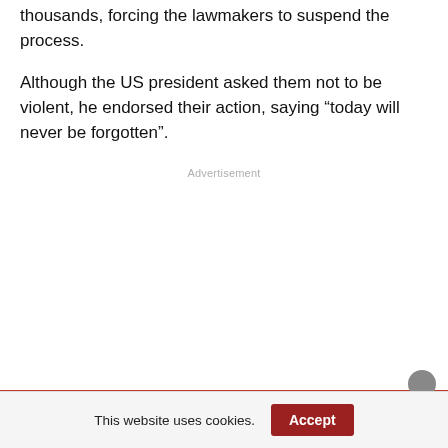thousands, forcing the lawmakers to suspend the process.
Although the US president asked them not to be violent, he endorsed their action, saying “today will never be forgotten”.
Advertisement
This website uses cookies. Accept